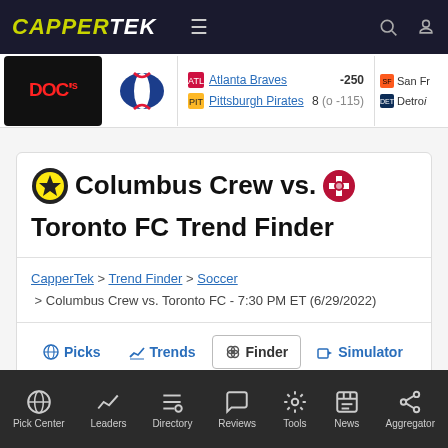CAPPERTEK
[Figure (screenshot): MLB game ticker showing Atlanta Braves -250 vs Pittsburgh Pirates 8 (o -115), and partial San Francisco / Detroit game]
Columbus Crew vs. Toronto FC Trend Finder
CapperTek > Trend Finder > Soccer > Columbus Crew vs. Toronto FC - 7:30 PM ET (6/29/2022)
Picks
Trends
Finder
Simulator
Capsensus
News
Pick Center  Leaders  Directory  Reviews  Tools  News  Aggregator